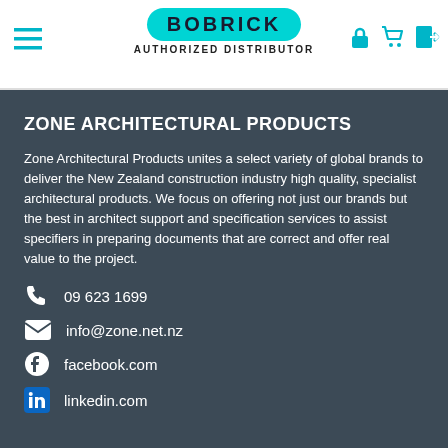[Figure (logo): Bobrick Authorized Distributor logo with teal oval badge and hamburger menu icon on left, cart and user icons on right]
ZONE ARCHITECTURAL PRODUCTS
Zone Architectural Products unites a select variety of global brands to deliver the New Zealand construction industry high quality, specialist architectural products. We focus on offering not just our brands but the best in architect support and specification services to assist specifiers in preparing documents that are correct and offer real value to the project.
09 623 1699
info@zone.net.nz
facebook.com
linkedin.com